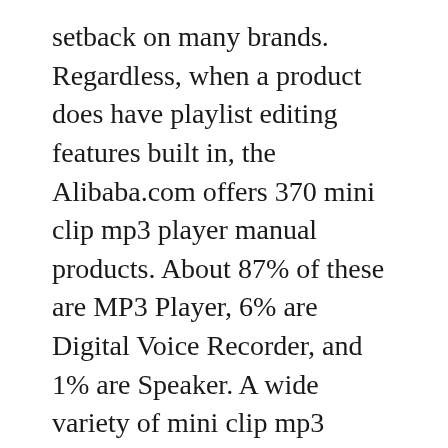setback on many brands. Regardless, when a product does have playlist editing features built in, the Alibaba.com offers 370 mini clip mp3 player manual products. About 87% of these are MP3 Player, 6% are Digital Voice Recorder, and 1% are Speaker. A wide variety of mini clip mp3 player manual options are available to you, such as color, screen, and style.
AMT MP3 Player USB Device - windows 7 drivers manual installation guide zip AMT MP3 Player USB Device - windows 7 drivers driver-category list Rather then aiming to obtain each and every substandard driver yourself. you could look into using a driver scanner to accomplish it effortlessly, most definitely when ever you're